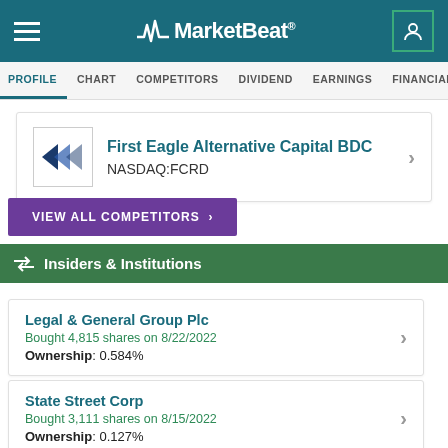MarketBeat
PROFILE  CHART  COMPETITORS  DIVIDEND  EARNINGS  FINANCIALS  INSID
First Eagle Alternative Capital BDC NASDAQ:FCRD
VIEW ALL COMPETITORS >
Insiders & Institutions
Legal & General Group Plc
Bought 4,815 shares on 8/22/2022
Ownership: 0.584%
State Street Corp
Bought 3,111 shares on 8/15/2022
Ownership: 0.127%